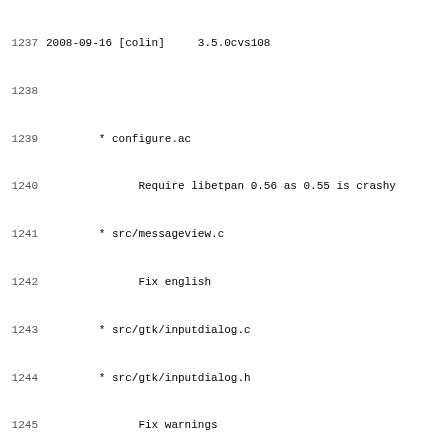1237 2008-09-16 [colin]     3.5.0cvs108
1238
1239         * configure.ac
1240               Require libetpan 0.56 as 0.55 is crashy
1241         * src/messageview.c
1242               Fix english
1243         * src/gtk/inputdialog.c
1244         * src/gtk/inputdialog.h
1245               Fix warnings
1246
1247 2008-09-16 [wwp]       3.5.0cvs107
1248
1249         * src/compose.c
1250               Complete 3.5.0cvs106 by removing a func
1251               moved to account.[ch].
1252
1253 2008-09-16 [wwp]       3.5.0cvs106
1254
1255         * src/account.c
1256         * src/account.h
1257         * src/compose.c
1258         * src/quote_fmt.c
1259         * src/quote_fmt_lex.l
1260         * src/quote_fmt_parse.y
1261               Add account signature (path and value s
1262               keywords to the template processor. It'
1263               all templates to insert the account sig
1264               arbitrary location or to pass it to a e
1265               further editing.
1266
1267
1268 2008-09-16 [mones]     3.5.0cvs105